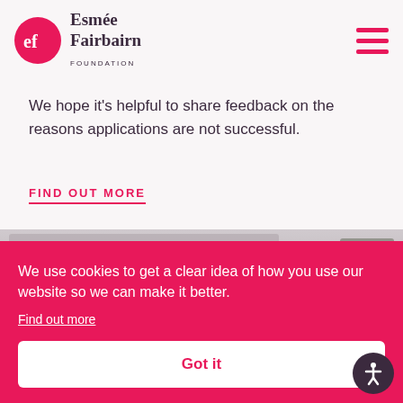[Figure (logo): Esmée Fairbairn Foundation logo — pink circle with 'ef' in white, followed by 'Esmée Fairbairn FOUNDATION' in dark text]
We hope it's helpful to share feedback on the reasons applications are not successful.
FIND OUT MORE
[Figure (photo): Photograph of people, partially visible behind cookie consent banner]
We use cookies to get a clear idea of how you use our website so we can make it better.
Find out more
Got it